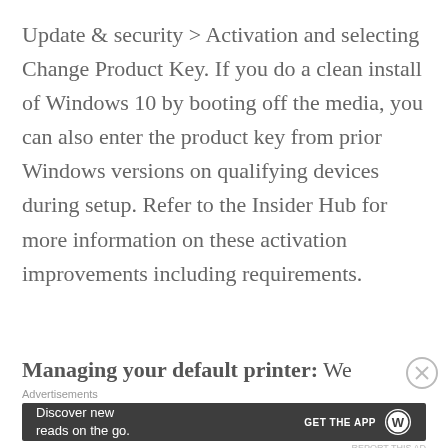Update & security > Activation and selecting Change Product Key. If you do a clean install of Windows 10 by booting off the media, you can also enter the product key from prior Windows versions on qualifying devices during setup. Refer to the Insider Hub for more information on these activation improvements including requirements.
Managing your default printer: We
Advertisements
[Figure (other): Advertisement banner with dark background showing 'Discover new reads on the go.' with WordPress GET THE APP button and logo]